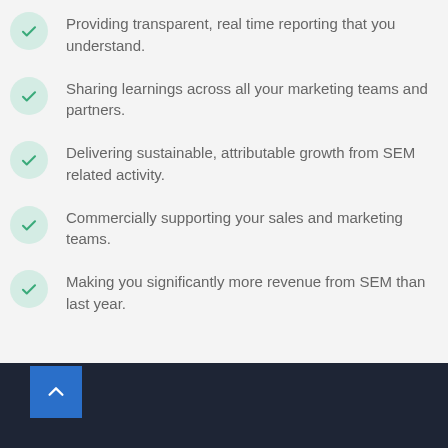Providing transparent, real time reporting that you understand.
Sharing learnings across all your marketing teams and partners.
Delivering sustainable, attributable growth from SEM related activity.
Commercially supporting your sales and marketing teams.
Making you significantly more revenue from SEM than last year.